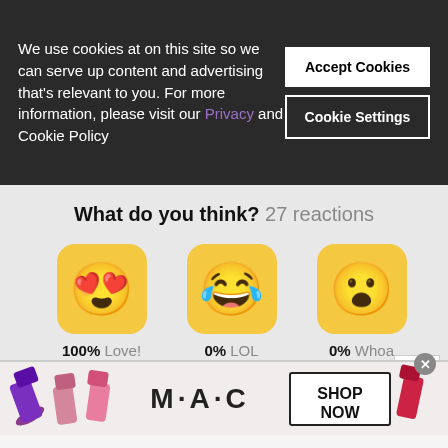We use cookies at on this site so we can serve up content and advertising that's relevant to you. For more information, please visit our Privacy and Cookie Policy
Accept Cookies
Cookie Settings
What do you think? 27 reactions
[Figure (infographic): Six emoji reaction buttons in a 3x2 grid on a gray background. Row 1: Love! (heart-eyes emoji, yellow rounded square, 100%), LOL (laughing with tears emoji, yellow rounded square, 0%), Whoa (surprised emoji, yellow rounded square, 0%). Row 2: neutral emoji (yellow), sad emoji (yellow), angry emoji (red-orange gradient). Labels show percentage and reaction name.]
[Figure (photo): MAC Cosmetics advertisement banner showing lipsticks in purple, pink, and red colors with MAC logo and SHOP NOW button]